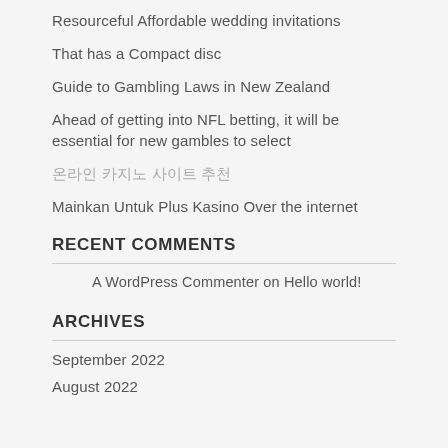Resourceful Affordable wedding invitations
That has a Compact disc
Guide to Gambling Laws in New Zealand
Ahead of getting into NFL betting, it will be essential for new gambles to select
온라인 카지노 사이트 추천
Mainkan Untuk Plus Kasino Over the internet
RECENT COMMENTS
A WordPress Commenter on Hello world!
ARCHIVES
September 2022
August 2022